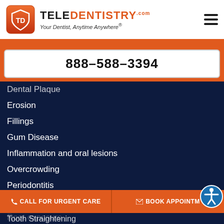TELEDENTISTRY.COM — Your Dentist, Anytime Anywhere®
888–588–3394
Dental Plaque
Erosion
Fillings
Gum Disease
Inflammation and oral lesions
Overcrowding
Periodontitis
Gum Recession
Root exposure
Soft Tissue Lesions
CALL FOR URGENT CARE
BOOK APPOINTMENT
Tooth Straightening